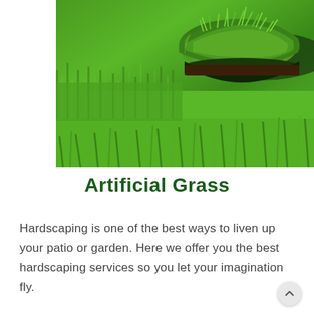[Figure (photo): A close-up photo of rolled artificial grass turf being unrolled over natural grass, showing vibrant green synthetic turf blades and a rolled section in the background.]
Artificial Grass
Hardscaping is one of the best ways to liven up your patio or garden. Here we offer you the best hardscaping services so you let your imagination fly.